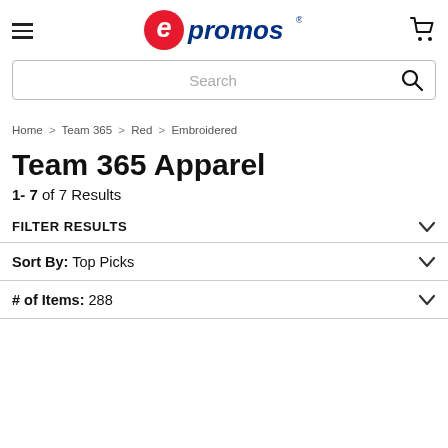[Figure (logo): epromos logo with hamburger menu and cart icon in header navigation bar]
[Figure (screenshot): Search input bar with placeholder text 'Search' and magnifying glass icon]
Home > Team 365 > Red > Embroidered
Team 365 Apparel
1- 7 of 7 Results
FILTER RESULTS
Sort By: Top Picks
# of Items: 288